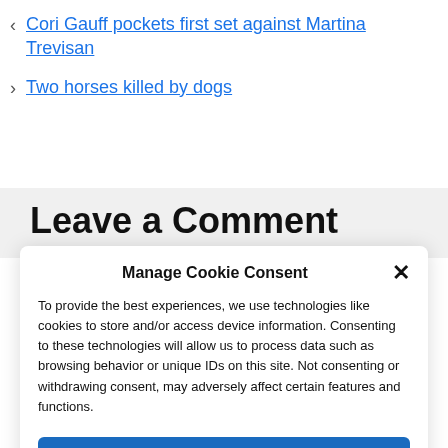< Cori Gauff pockets first set against Martina Trevisan
> Two horses killed by dogs
Leave a Comment
Manage Cookie Consent
To provide the best experiences, we use technologies like cookies to store and/or access device information. Consenting to these technologies will allow us to process data such as browsing behavior or unique IDs on this site. Not consenting or withdrawing consent, may adversely affect certain features and functions.
Accept
Cookie Policy